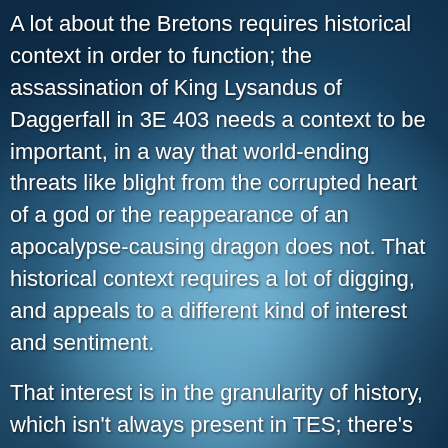A lot about the Bretons requires historical context in order to function; the assassination of King Lysandus of Daggerfall in 3E 403 needs a context to be important, in a way that world-ending threats like blight from the corrupted heart of a god or the reappearance of an apocalypse-causing dragon does not. That historical context requires a lot of digging, and appeals to a different kind of interest and sentiment.
That interest is in the granularity of history, which isn't always present in TES; there's talk of...